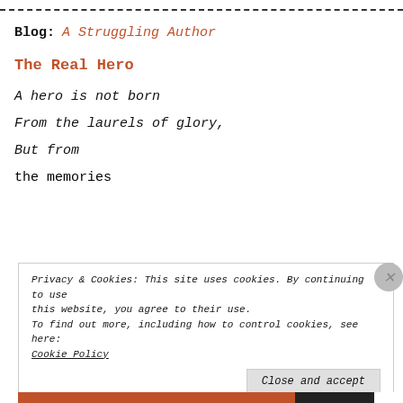-----------------------------------------------------------
Blog:  A Struggling Author
The Real Hero
A hero is not born
From the laurels of glory,
But from the memories
Privacy & Cookies: This site uses cookies. By continuing to use this website, you agree to their use.
To find out more, including how to control cookies, see here:
Cookie Policy
Close and accept